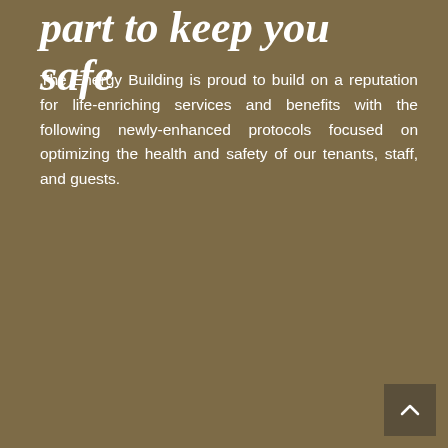part to keep you safe
The Energy Building is proud to build on a reputation for life-enriching services and benefits with the following newly-enhanced protocols focused on optimizing the health and safety of our tenants, staff, and guests.